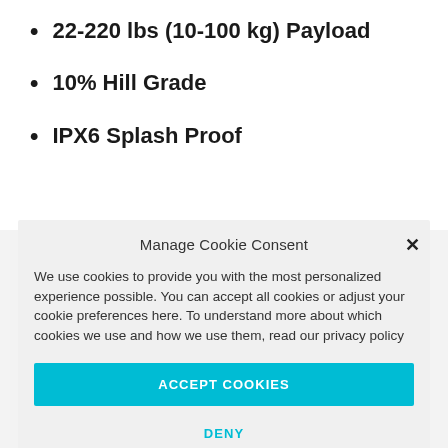22-220 lbs (10-100 kg) Payload
10% Hill Grade
IPX6 Splash Proof
Manage Cookie Consent
We use cookies to provide you with the most personalized experience possible. You can accept all cookies or adjust your cookie preferences here. To understand more about which cookies we use and how we use them, read our privacy policy
ACCEPT COOKIES
DENY
VIEW PREFERENCES